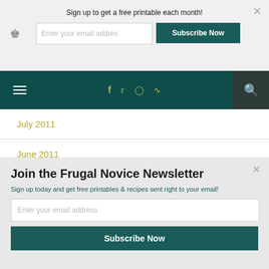Sign up to get a free printable each month!
Enter your email addres
Subscribe Now
[Figure (screenshot): Navigation bar with hamburger menu, social icons (f, twitter, instagram, rss), and search icon on dark teal background]
July 2011
June 2011
May 2011
April 2011
March 2011
Join the Frugal Novice Newsletter
Sign up today and get free printables & recipes sent right to your email!
Enter your email address
Subscribe Now